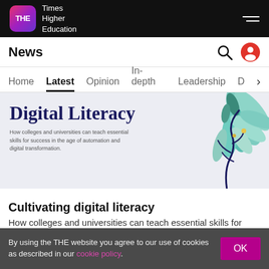THE Times Higher Education
News
Home | Latest | Opinion | In-depth | Leadership | D
[Figure (illustration): Digital Literacy article banner with decorative plant/leaf illustration. Title reads: Digital Literacy. Subtitle: How colleges and universities can teach essential skills for success in the age of automation and digital transformation.]
Cultivating digital literacy
How colleges and universities can teach essential skills for success in the age of automation and digital transformation
By using the THE website you agree to our use of cookies as described in our cookie policy.